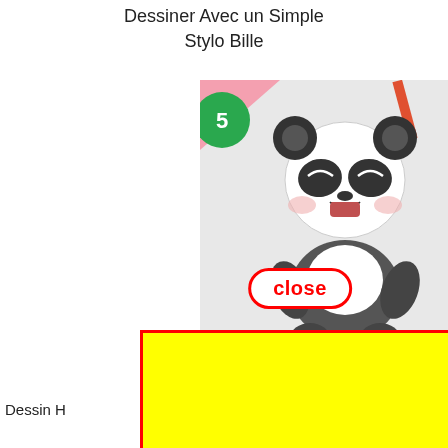Dessiner Avec un Simple
Stylo Bille
[Figure (screenshot): Screenshot of a webpage showing a cute cartoon panda drawing thumbnail, a close button with red border over the image, a yellow rectangle with red border overlaid on the lower portion, partial text 'Dessin H...' and '...y Quinn' visible behind the yellow box, partial pink card on bottom-left with bold text '.ate', and bottom-right image showing a hand with a pencil drawing.]